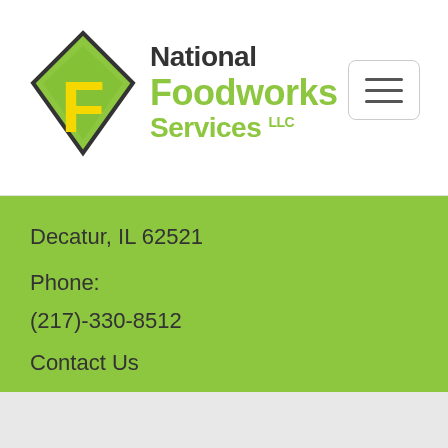[Figure (logo): National Foodworks Services LLC logo with diamond-shaped icon containing a yellow F on green background, and company name text]
Decatur, IL 62521
Phone:
(217)-330-8512
Contact Us
Copyright © 2017 National Foodworks Services. All rights reserved.